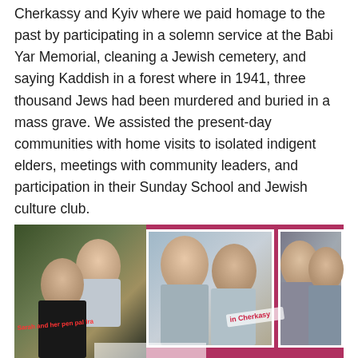Cherkassy and Kyiv where we paid homage to the past by participating in a solemn service at the Babi Yar Memorial, cleaning a Jewish cemetery, and saying Kaddish in a forest where in 1941, three thousand Jews had been murdered and buried in a mass grave. We assisted the present-day communities with home visits to isolated indigent elders, meetings with community leaders, and participation in their Sunday School and Jewish culture club.
[Figure (photo): A photo collage on a pink/magenta background showing three photographs of young girls. Left photo shows two girls outdoors. Middle photo shows two girls together. Right photo shows girls together. Captions read 'Sarah and her pen pal Ira' in red text and 'in Cherkasy' in white text.]